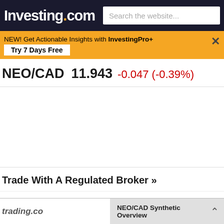Investing.com
NEW! Get Actionable Insights with InvestingPro+ Try 7 Days Free
NEO/CAD  11.943  -0.047 (-0.39%)
Trade With A Regulated Broker »
NEO/CAD Synthetic Overview